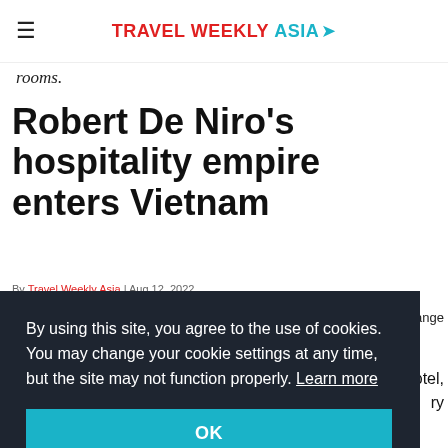TRAVEL WEEKLY ASIA
rooms.
Robert De Niro's hospitality empire enters Vietnam
By Travel Weekly Asia | Aug 12, 2022
in range
By using this site, you agree to the use of cookies. You may change your cookie settings at any time, but the site may not function properly. Learn more
OK
hotel,
ry
beachfront urban resort destination in southern